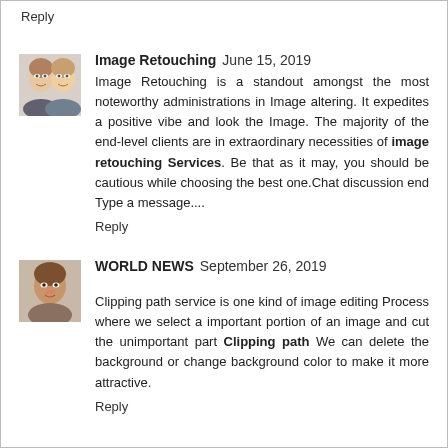Reply
[Figure (photo): Avatar photo of two women]
Image Retouching  June 15, 2019
Image Retouching is a standout amongst the most noteworthy administrations in Image altering. It expedites a positive vibe and look the Image. The majority of the end-level clients are in extraordinary necessities of image retouching Services. Be that as it may, you should be cautious while choosing the best one.Chat discussion end Type a message....
Reply
[Figure (photo): Avatar photo of a woman]
WORLD NEWS  September 26, 2019
Clipping path service is one kind of image editing Process where we select a important portion of an image and cut the unimportant part Clipping path We can delete the background or change background color to make it more attractive.
Reply